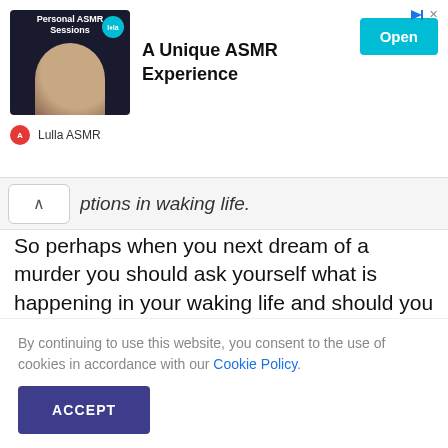[Figure (screenshot): Ad banner for 'Lulla ASMR' Personal ASMR Sessions with thumbnail image of a man, teal open button, and channel branding]
ptions in waking life.
So perhaps when you next dream of a murder you should ask yourself what is happening in your waking life and should you be worried?
By continuing to use this website, you consent to the use of cookies in accordance with our Cookie Policy.
ACCEPT